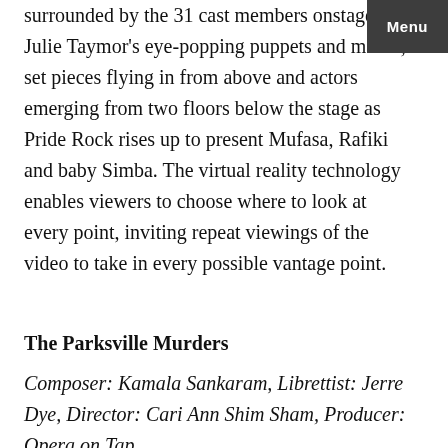surrounded by the 31 cast members onstage, Julie Taymor's eye-popping puppets and masks, set pieces flying in from above and actors emerging from two floors below the stage as Pride Rock rises up to present Mufasa, Rafiki and baby Simba. The virtual reality technology enables viewers to choose where to look at every point, inviting repeat viewings of the video to take in every possible vantage point.
The Parksville Murders
Composer: Kamala Sankaram, Librettist: Jerre Dye, Director: Cari Ann Shim Sham, Producer: Opera on Tap